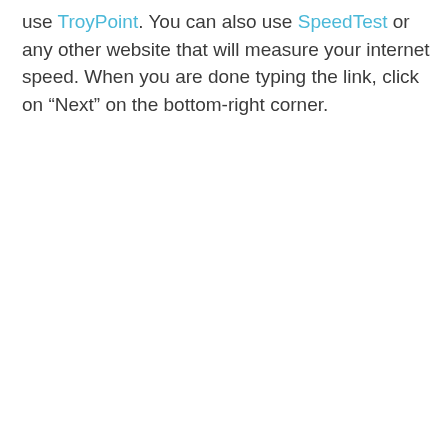use TroyPoint. You can also use SpeedTest or any other website that will measure your internet speed. When you are done typing the link, click on “Next” on the bottom-right corner.